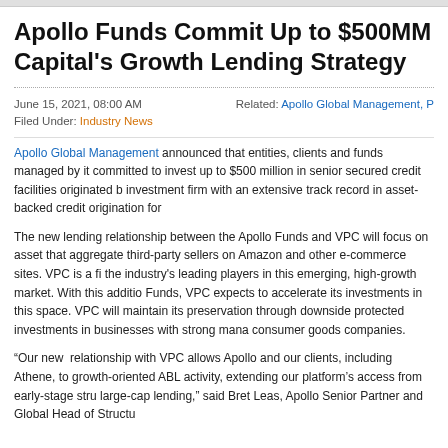Apollo Funds Commit Up to $500MM Capital's Growth Lending Strategy
June 15, 2021, 08:00 AM
Filed Under: Industry News
Related: Apollo Global Management, P
Apollo Global Management announced that entities, clients and funds managed by it committed to invest up to $500 million in senior secured credit facilities originated b investment firm with an extensive track record in asset-backed credit origination for
The new lending relationship between the Apollo Funds and VPC will focus on asset that aggregate third-party sellers on Amazon and other e-commerce sites. VPC is a fi the industry's leading players in this emerging, high-growth market. With this additio Funds, VPC expects to accelerate its investments in this space. VPC will maintain its preservation through downside protected investments in businesses with strong mana consumer goods companies.
“Our new relationship with VPC allows Apollo and our clients, including Athene, to growth-oriented ABL activity, extending our platform’s access from early-stage stru large-cap lending,” said Bret Leas, Apollo Senior Partner and Global Head of Structu